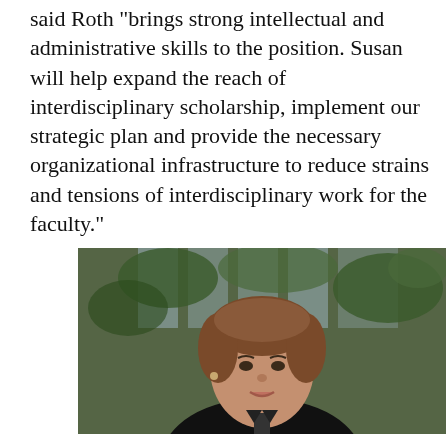said Roth "brings strong intellectual and administrative skills to the position. Susan will help expand the reach of interdisciplinary scholarship, implement our strategic plan and provide the necessary organizational infrastructure to reduce strains and tensions of interdisciplinary work for the faculty."
[Figure (photo): Portrait photograph of a woman with short brown hair, wearing a black turtleneck, with green foliage visible in the background.]